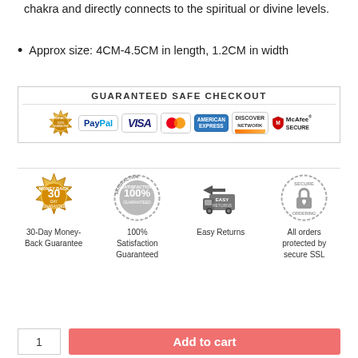chakra and directly connects to the spiritual or divine levels.
Approx size: 4CM-4.5CM in length, 1.2CM in width
[Figure (infographic): Guaranteed Safe Checkout banner with payment icons: Satisfaction 100% badge, PayPal, VISA, MasterCard, American Express, Discover Network, McAfee Secure]
[Figure (infographic): Four trust badges: 30-Day Money-Back Guarantee (gold badge), 100% Satisfaction Guaranteed (grey stamp), Easy Returns (truck icon), All orders protected by secure SSL (lock icon)]
30-Day Money-Back Guarantee
100% Satisfaction Guaranteed
Easy Returns
All orders protected by secure SSL
1
Add to cart